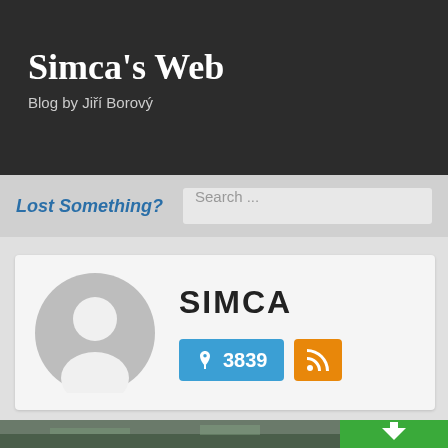Simca's Web
Blog by Jiří Borový
Lost Something?
Search ...
[Figure (illustration): Generic user avatar circle silhouette in grey]
SIMCA
📌 3839
[Figure (photo): Partial view of a road/street photo at bottom of page with a green download arrow button]